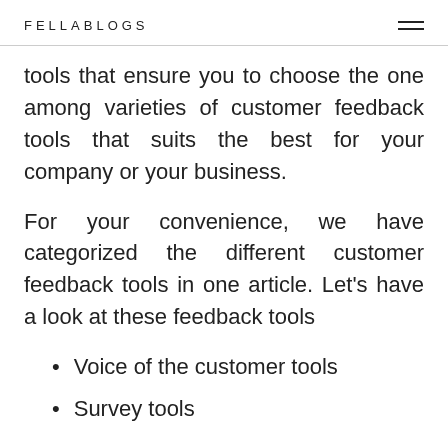FELLABLOGS
tools that ensure you to choose the one among varieties of customer feedback tools that suits the best for your company or your business.
For your convenience, we have categorized the different customer feedback tools in one article. Let’s have a look at these feedback tools
Voice of the customer tools
Survey tools